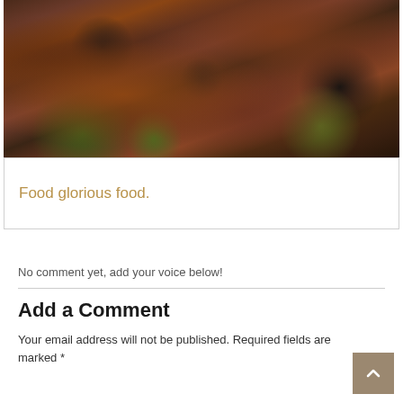[Figure (photo): Close-up photo of dates (dried fruit) with raisins and seeds on a dark surface]
Food glorious food.
No comment yet, add your voice below!
Add a Comment
Your email address will not be published. Required fields are marked *